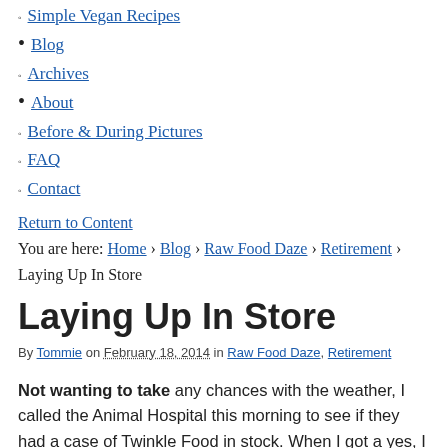Simple Vegan Recipes
Blog
Archives
About
Before & During Pictures
FAQ
Contact
Return to Content
You are here: Home › Blog › Raw Food Daze › Retirement › Laying Up In Store
Laying Up In Store
By Tommie on February 18, 2014 in Raw Food Daze, Retirement
Not wanting to take any chances with the weather, I called the Animal Hospital this morning to see if they had a case of Twinkle Food in stock. When I got a yes, I told the girl I would be down